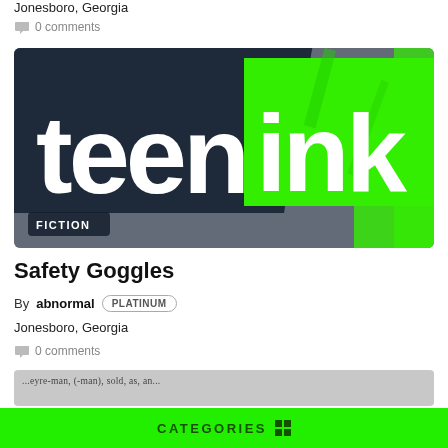Jonesboro, Georgia
0 comments
[Figure (logo): Teen Ink logo on dark navy and bright green background with 'FICTION' badge in bottom left corner]
Safety Goggles
By abnormal PLATINUM
Jonesboro, Georgia
0 comments
[Figure (photo): Partial image at bottom showing text/dictionary page]
CATEGORIES